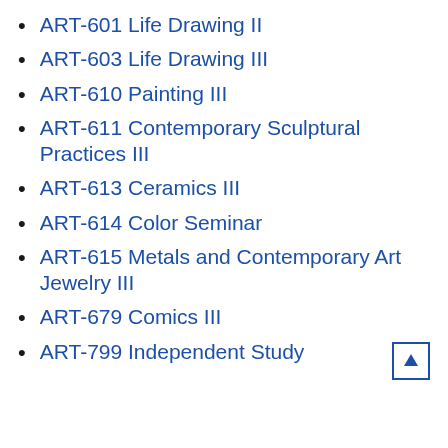ART-601 Life Drawing II
ART-603 Life Drawing III
ART-610 Painting III
ART-611 Contemporary Sculptural Practices III
ART-613 Ceramics III
ART-614 Color Seminar
ART-615 Metals and Contemporary Art Jewelry III
ART-679 Comics III
ART-799 Independent Study